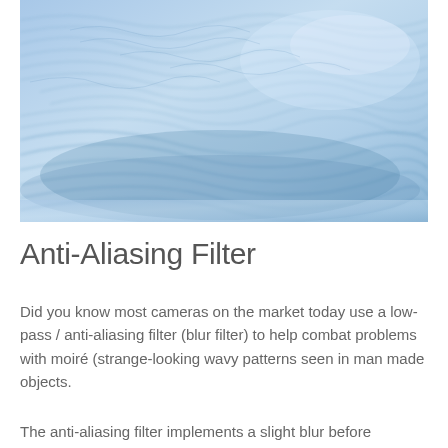[Figure (photo): Close-up photograph of blue wavy fabric or water surface showing moire-like ripple patterns in shades of light blue]
Anti-Aliasing Filter
Did you know most cameras on the market today use a low-pass / anti-aliasing filter (blur filter) to help combat problems with moiré (strange-looking wavy patterns seen in man made objects.
The anti-aliasing filter implements a slight blur before